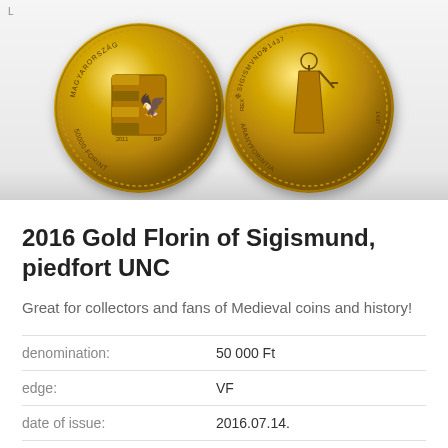[Figure (photo): Two gold coins side by side on a light grey background. Left coin shows the obverse with Hungarian coat of arms and '50000 FORINT' inscription. Right coin shows a figure (Sigismund) with 'ARANYFORINTIA' and 'SIGISMUND' inscriptions.]
2016 Gold Florin of Sigismund, piedfort UNC
Great for collectors and fans of Medieval coins and history!
| denomination: | 50 000 Ft |
| edge: | VF |
| date of issue: | 2016.07.14. |
| material: | Au/Arany |